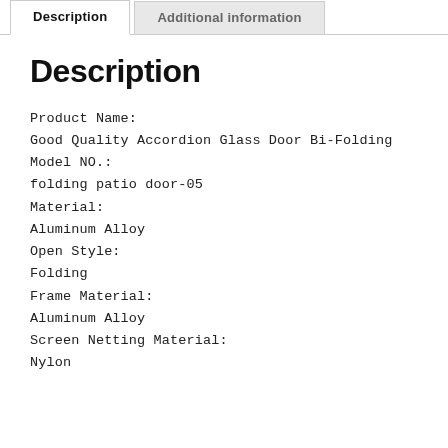Description | Additional information
Description
Product Name:
Good Quality Accordion Glass Door Bi-Folding
Model NO.:
folding patio door-05
Material:
Aluminum Alloy
Open Style:
Folding
Frame Material:
Aluminum Alloy
Screen Netting Material:
Nylon